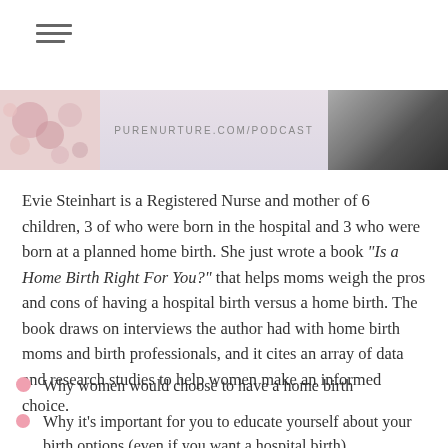[Figure (screenshot): Hamburger menu icon with three horizontal lines]
[Figure (screenshot): Website banner showing purenurture.com/podcast text in center with floral image on left and black-and-white photo of woman on right]
Evie Steinhart is a Registered Nurse and mother of 6 children, 3 of who were born in the hospital and 3 who were born at a planned home birth. She just wrote a book "Is a Home Birth Right For You?" that helps moms weigh the pros and cons of having a hospital birth versus a home birth. The book draws on interviews the author had with home birth moms and birth professionals, and it cites an array of data and research studies to help women make an informed choice.
Why women would choose to have a home birth
Why it's important for you to educate yourself about your birth options (even if you want a hospital birth)